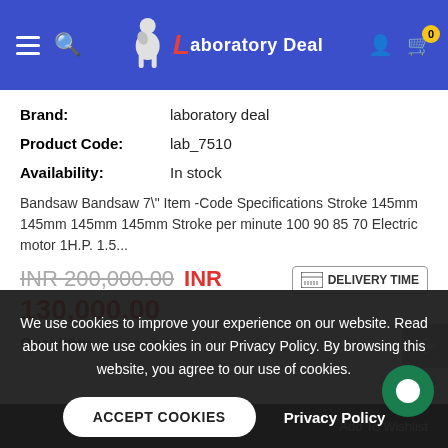[Figure (screenshot): Laboratory Deal website header with blue background, hamburger menu, search icon, logo, user icon, and cart icon with badge showing 0]
Brand: laboratory deal
Product Code: lab_7510
Availability: In stock
Bandsaw Bandsaw 7" Item -Code Specifications Stroke 145mm 145mm 145mm 145mm Stroke per minute 100 90 85 70 Electric motor 1H.P. 1.5...
INR 200,000.00 INR 130,000.00
DELIVERY TIME
Quantity:
Special: INR 130,000.00
We use cookies to improve your experience on our website. Read about how we use cookies in our Privacy Policy. By browsing this website, you agree to our use of cookies.
ACCEPT COOKIES
Privacy Policy
Add To Wishlist